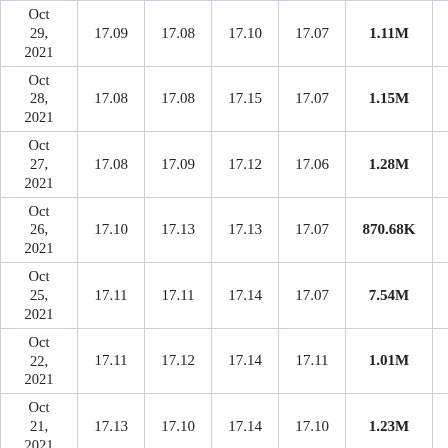| Date | Open | Close | High | Low | Volume | Change% |
| --- | --- | --- | --- | --- | --- | --- |
| Oct 29, 2021 | 17.09 | 17.08 | 17.10 | 17.07 | 1.11M | -0.42% |
| Oct 28, 2021 | 17.08 | 17.08 | 17.15 | 17.07 | 1.15M | -0.42% |
| Oct 27, 2021 | 17.08 | 17.09 | 17.12 | 17.06 | 1.28M | -0.42% |
| Oct 26, 2021 | 17.10 | 17.13 | 17.13 | 17.07 | 870.68K | -0.42% |
| Oct 25, 2021 | 17.11 | 17.11 | 17.14 | 17.07 | 7.54M | -0.42% |
| Oct 22, 2021 | 17.11 | 17.12 | 17.14 | 17.11 | 1.01M | -0.42% |
| Oct 21, 2021 | 17.13 | 17.10 | 17.14 | 17.10 | 1.23M | -0.42% |
| Oct 20, 2021 | 17.12 | 17.12 | 17.14 | 17.10 | 1.19M | -0.42% |